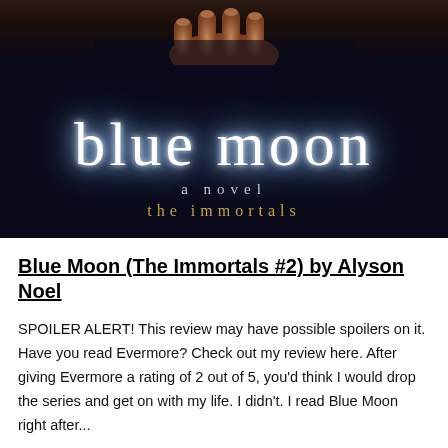[Figure (illustration): Book cover for 'Blue Moon: A Novel, The Immortals' by Alyson Noel. Dark navy background with a glowing fist/hand at the top, large glowing white serif text 'blue moon', below it 'a novel' in grey, and 'the immortals' in gold.]
Blue Moon (The Immortals #2) by Alyson Noel
SPOILER ALERT! This review may have possible spoilers on it. Have you read Evermore? Check out my review here. After giving Evermore a rating of 2 out of 5, you'd think I would drop the series and get on with my life. I didn't. I read Blue Moon right after...